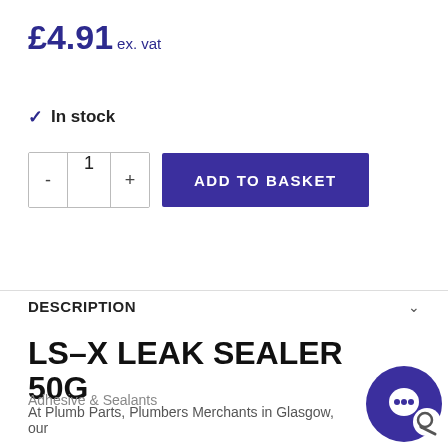£4.91 ex. vat
✓ In stock
- 1 + ADD TO BASKET
DESCRIPTION
LS-X LEAK SEALER 50G
Adhesive & Sealants
At Plumb Parts, Plumbers Merchants in Glasgow, our